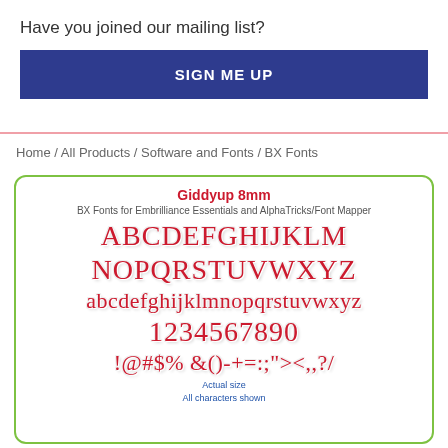Have you joined our mailing list?
SIGN ME UP
Home / All Products / Software and Fonts / BX Fonts
[Figure (illustration): Product card showing Giddyup 8mm BX font specimen with uppercase letters ABCDEFGHIJKLM NOPQRSTUVWXYZ, lowercase abcdefghijklmnopqrstuvwxyz, digits 1234567890, and symbols !@#$%  &()-+=:;"'><,,?/ with label 'Actual size All characters shown']